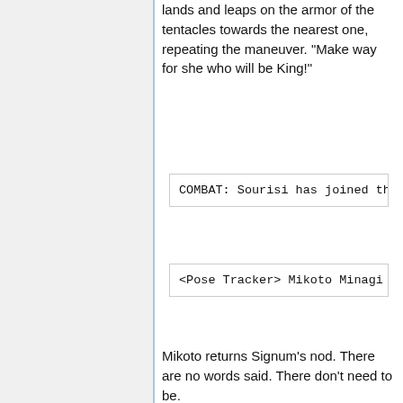lands and leaps on the armor of the tentacles towards the nearest one, repeating the maneuver. "Make way for she who will be King!"
COMBAT: Sourisi has joined the
<Pose Tracker> Mikoto Minagi [O
Mikoto returns Signum's nod. There are no words said. There don't need to be.
There are words enough from Vita, after all. The girl's boasting is met with an unfriendly expression - but at least, for now, not an openly hostile one. Chopsticks. Graf Eisen states their purpose, and Mikoto rolls her shoulders in a shrug. "I know." They are pointed words, and there is enmity there which